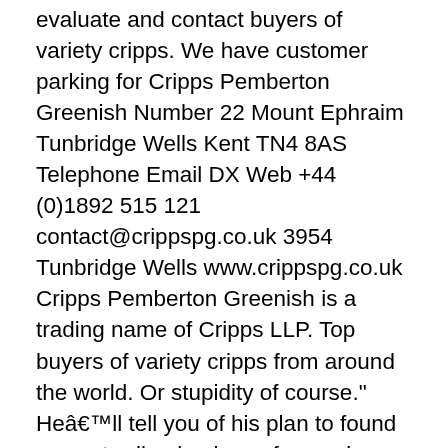evaluate and contact buyers of variety cripps. We have customer parking for Cripps Pemberton Greenish Number 22 Mount Ephraim Tunbridge Wells Kent TN4 8AS Telephone Email DX Web +44 (0)1892 515 121 contact@crippspg.co.uk 3954 Tunbridge Wells www.crippspg.co.uk Cripps Pemberton Greenish is a trading name of Cripps LLP. Top buyers of variety cripps from around the world. Or stupidity of course." He'll tell you of his plan to found a new trading business focused on selling and trading in animal skins, pelts, and furs. From there, head to Armadillo and speak to Cripps. Regional firm Cripps has today announced what it says are record annual trading results. Should I do/finish online's story mode bedore doing anything else? The brand new update for Red Dead Redemption 2's Online mode is finally here, and with it comes all sorts of brand new jobs for you to take on. Cripps Pemberton Greenish | 2,631 followers on LinkedIn | Cripps Pemberton Greenish | Cripps Pemberton Greenish is one of the